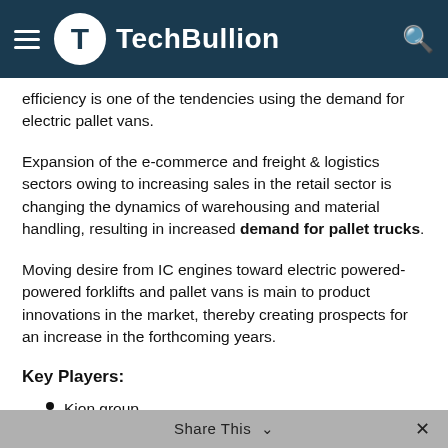TechBullion
efficiency is one of the tendencies using the demand for electric pallet vans.
Expansion of the e-commerce and freight & logistics sectors owing to increasing sales in the retail sector is changing the dynamics of warehousing and material handling, resulting in increased demand for pallet trucks.
Moving desire from IC engines toward electric powered-powered forklifts and pallet vans is main to product innovations in the market, thereby creating prospects for an increase in the forthcoming years.
Key Players:
Kion group
Toyota Industries Corporation